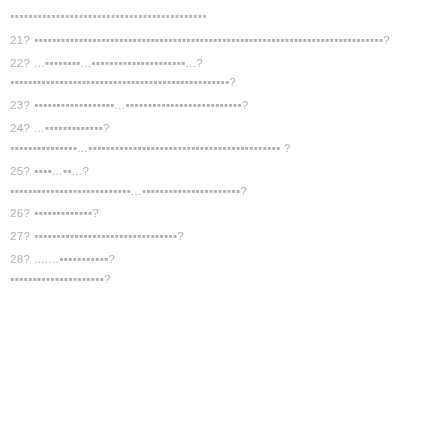▪▪▪▪▪▪▪▪▪▪▪▪▪▪▪▪▪▪▪▪▪▪▪▪▪▪▪▪▪▪▪▪▪▪▪▪▪▪▪▪▪
21? ▪▪▪▪▪▪▪▪▪▪▪▪▪▪▪▪▪▪▪▪▪▪▪▪▪▪▪▪▪▪▪▪▪▪▪▪▪▪▪▪▪▪▪▪▪▪▪▪▪▪▪▪▪▪▪▪▪▪▪▪▪▪▪▪▪▪▪▪▪▪▪▪▪▪▪▪▪▪?
22? ...▪▪▪▪▪▪▪▪...▪▪▪▪▪▪▪▪▪▪▪▪▪▪▪▪▪▪▪▪▪...?
▪▪▪▪▪▪▪▪▪▪▪▪▪▪▪▪▪▪▪▪▪▪▪▪▪▪▪▪▪▪▪▪▪▪▪▪▪▪▪▪▪▪▪▪▪▪▪▪▪?
23? ▪▪▪▪▪▪▪▪▪▪▪▪▪▪▪▪▪▪...▪▪▪▪▪▪▪▪▪▪▪▪▪▪▪▪▪▪▪▪▪▪▪▪▪▪?
24? ...▪▪▪▪▪▪▪▪▪▪▪▪▪?
▪▪▪▪▪▪▪▪▪▪▪▪▪▪▪...▪▪▪▪▪▪▪▪▪▪▪▪▪▪▪▪▪▪▪▪▪▪▪▪▪▪▪▪▪▪▪▪▪▪▪▪▪▪▪▪▪▪▪ ?
25? ▪▪▪▪...▪▪...?
▪▪▪▪▪▪▪▪▪▪▪▪▪▪▪▪▪▪▪▪▪▪▪▪▪▪▪...▪▪▪▪▪▪▪▪▪▪▪▪▪▪▪▪▪▪▪▪▪▪?
26? ▪▪▪▪▪▪▪▪▪▪▪▪▪?
27? ▪▪▪▪▪▪▪▪▪▪▪▪▪▪▪▪▪▪▪▪▪▪▪▪▪▪▪▪▪▪▪▪?
28? .......▪▪▪▪▪▪▪▪▪▪▪?
▪▪▪▪▪▪▪▪▪▪▪▪▪▪▪▪▪▪▪▪▪?